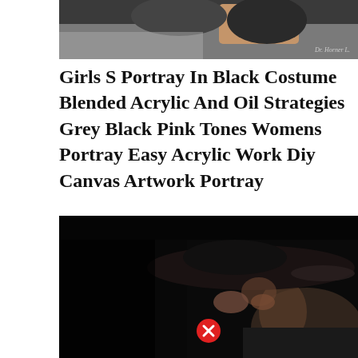[Figure (photo): Top portion of a portrait painting showing a hand and dark background with a small artist signature in bottom right]
Girls S Portray In Black Costume Blended Acrylic And Oil Strategies Grey Black Pink Tones Womens Portray Easy Acrylic Work Diy Canvas Artwork Portray
[Figure (photo): Dark moody photograph of a woman wearing a large wide-brim black hat and off-shoulder black top, holding the brim of her hat, face partially shadowed, with a red X close button overlay at the bottom center]